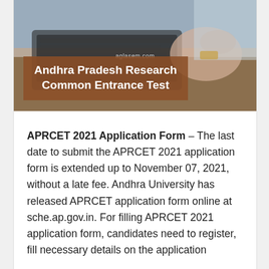[Figure (photo): Photo of person typing on laptop keyboard with 'aglasem.com' watermark and an overlay banner reading 'Andhra Pradesh Research Common Entrance Test']
APRCET 2021 Application Form – The last date to submit the APRCET 2021 application form is extended up to November 07, 2021, without a late fee. Andhra University has released APRCET application form online at sche.ap.gov.in. For filling APRCET 2021 application form, candidates need to register, fill necessary details on the application